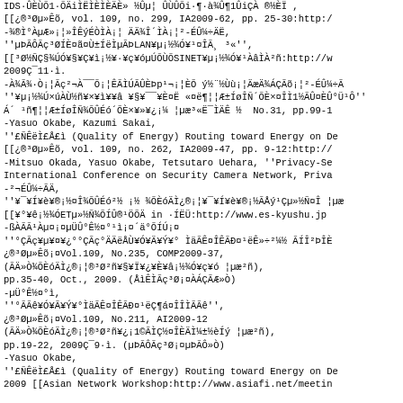IDS·ÛÈÙÕ1·ÕÄiÌËÌÈÌÈÄÈ» ½Ûµ¦ ÛÙÛÕi·¶·à¾Û¶1ÛiÇÀ ®½ÈÏ , [[¿®³Øµ»Êõ, vol. 109, no. 299, IA2009-62, pp. 25-30:http:/ -¾®Ì°ÀµÆ»¡¦»ÎÊýÉÒÌÀ¡¦ ÄÄ¾Î´ÌÀ¡¦²-ÉÛ¼÷ÄË, ''µÞÃÔÃç³ØÍÈ¤ã¤Ù±ÍëÌµÃÞLAN¥µ¡½¾Ó¥¹¤ÎÃ¸ ³«'', [[³Ø½ÑÇ§¾ÚÓ¥§¥Ç¥ì¡½¥·¥ç¥óµÚÕÙÕSINET¥µ¡½¾Ó¥¹ÀâÌÀ²ñ:http://w 2009Ç¯11·ì. -À¾Ã¾·Ò¡¦Ãç²¬À¯¯Õ¡¦ÊÃÌÚÃÛÈÞp¹¬¡¦ÈÕ ý½¨½Ùù¡¦ÄæÄ¾ÁÇÃõ¡¦²-ÉÛ¼÷Ã ''¥µ¡½¾Ú×úÀÙ½ñ¥×¥ì¥¥â ¥§¥¯¯¥È¤Ë «¤ë¶¦¦Æ±ÍøÎÑ´ÕÈ×¤ÎÌ1½ÃÛ¤ÈÛ°Ü¹Ô'' Á´ ¹ñ¶¦¦Æ±ÍøÎÑ¾ÕÛÉó´ÕÈ×¥»¥¿¡¼ ¦µæ³«Ë¯ÌÄÊ ½ No.31, pp.99-1 -Yasuo Okabe, Kazumi Sakai, ''£ÑÊëÌ£Å£ì (Quality of Energy) Routing toward Energy on De [[¿®³Øµ»Êõ, vol. 109, no. 262, IA2009-47, pp. 9-12:http:// -Mitsuo Okada, Yasuo Okabe, Tetsutaro Uehara, ''Privacy-Se International Conference on Security Camera Network, Priva -²¬ÉÛ¼÷ÃÄ, ''¥¯¥Í¥è¥®¡½¤Î¾ÕÛÉó²½ ¡½ ¾ÕÈóÄÌ¿®¡¦¥¯¥Í¥è¥®¡½ÃÅý¹Çµ»½Ñ¤Î ¦µæ [[¥°¥ê¡½¾ÓETµ»½Ñ¾ÕÍÛ®¹ÖÕÄ in ·ÍËÜ:http://www.es-kyushu.jp -ßÀÃÃ¹Àµ¤¡¤µÜÛ°Ê½¤°¹ì¡¤´ä°ÕÍÚ¡¤ ''°ÇÃç¥µ¥¤¥¿°°ÇÃç°ÄÄëÅÙ¥Ó¥Ä¥Ý¥° ÌäÃÊ¤ÎÊÃÐ¤¹ëÊ»÷²¼½ ÃÍÎ²ÞÎÈ ¿®³Øµ»Êõ¡¤Vol.109, No.235, COMP2009-37, (ÃÄ»Ò¾ÕÈóÄÌ¿®¡¦®³Ø²ñ¥§¥Ï¥¿¥È¥â¡½¾Ó¥ç¥ó ¦µæ²ñ), pp.35-40, Oct., 2009. (ÅìÊÌÃç³Ø¡¤ÀÁÇÃÆ»Ò) -µÜ°Ê½¤°ì, ''°ÃÃê¥Ó¥Ã¥Ý¥°ÌäÃÊ¤ÎÊÃÐ¤¹ëÇ¶á¤ÎÎÌÃÃê'', ¿®³Øµ»Êõ¡¤Vol.109, No.211, AI2009-12 (ÃÄ»Ò¾ÕÈóÄÌ¿®¡¦®³Ø²ñ¥¿¡1©ÃÌÇ½¤ÎÈÄÌ¼±½èÍý ¦µæ²ñ), pp.19-22, 2009Ç¯9·ì. (µÞÃÔÃç³Ø¡¤µÞÃÔ»Ò) -Yasuo Okabe, ''£ÑÊëÌ£Å£ì (Quality of Energy) Routing toward Energy on De 2009 [[Asian Network Workshop:http://www.asiafi.net/meetin